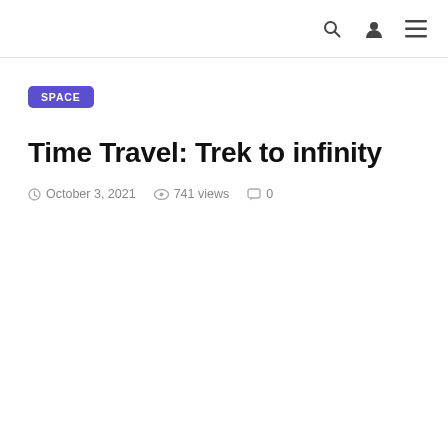SPACE
Time Travel: Trek to infinity
October 3, 2021   741 views   0